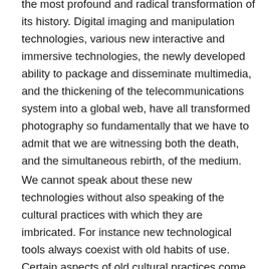the most profound and radical transformation of its history. Digital imaging and manipulation technologies, various new interactive and immersive technologies, the newly developed ability to package and disseminate multimedia, and the thickening of the telecommunications system into a global web, have all transformed photography so fundamentally that we have to admit that we are witnessing both the death, and the simultaneous rebirth, of the medium.
We cannot speak about these new technologies without also speaking of the cultural practices with which they are imbricated. For instance new technological tools always coexist with old habits of use. Certain aspects of old cultural practices come to be seen, in retrospect, as having always contained prior forms of supposedly new modes of perception. And everything is ultimately